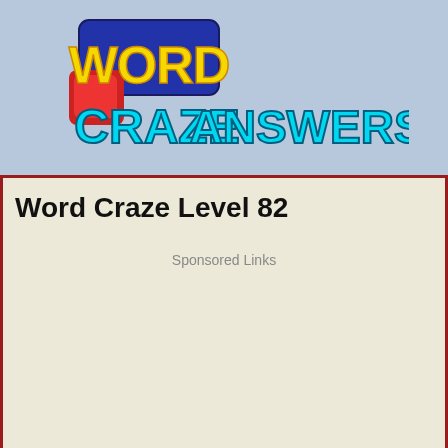[Figure (logo): Word Craze Answers logo with colorful lettering on blue background]
Word Craze Level 82
Sponsored Links